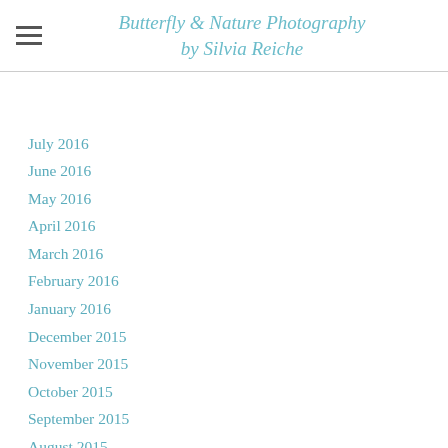Butterfly & Nature Photography by Silvia Reiche
July 2016
June 2016
May 2016
April 2016
March 2016
February 2016
January 2016
December 2015
November 2015
October 2015
September 2015
August 2015
July 2015
June 2015
May 2015
April 2015
March 2015